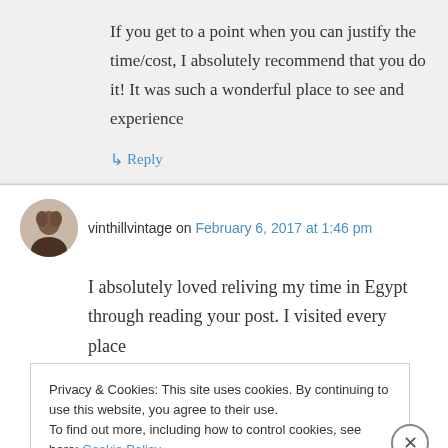If you get to a point when you can justify the time/cost, I absolutely recommend that you do it! It was such a wonderful place to see and experience
↳ Reply
vinthillvintage on February 6, 2017 at 1:46 pm
I absolutely loved reliving my time in Egypt through reading your post. I visited every place
Privacy & Cookies: This site uses cookies. By continuing to use this website, you agree to their use.
To find out more, including how to control cookies, see here: Cookie Policy
Close and accept